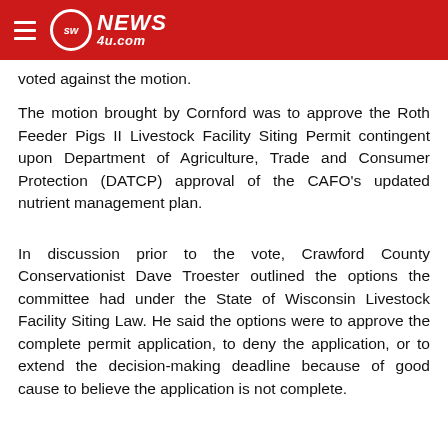SW NEWS 4u.com
voted against the motion.
The motion brought by Cornford was to approve the Roth Feeder Pigs II Livestock Facility Siting Permit contingent upon Department of Agriculture, Trade and Consumer Protection (DATCP) approval of the CAFO's updated nutrient management plan.
In discussion prior to the vote, Crawford County Conservationist Dave Troester outlined the options the committee had under the State of Wisconsin Livestock Facility Siting Law. He said the options were to approve the complete permit application, to deny the application, or to extend the decision-making deadline because of good cause to believe the application is not complete.